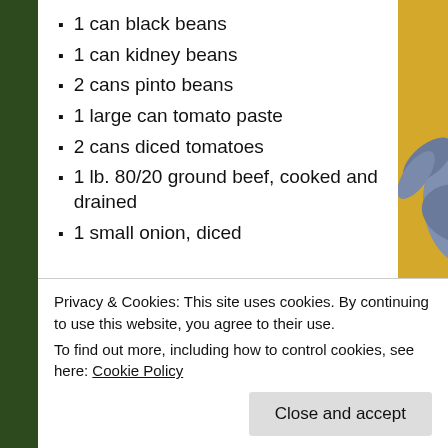1 can black beans
1 can kidney beans
2 cans pinto beans
1 large can tomato paste
2 cans diced tomatoes
1 lb. 80/20 ground beef, cooked and drained
1 small onion, diced
[Figure (photo): Photo of a rooster illustration on a colorful plate/tablecloth with a bowl of chili on a saucer]
Privacy & Cookies: This site uses cookies. By continuing to use this website, you agree to their use.
To find out more, including how to control cookies, see here: Cookie Policy